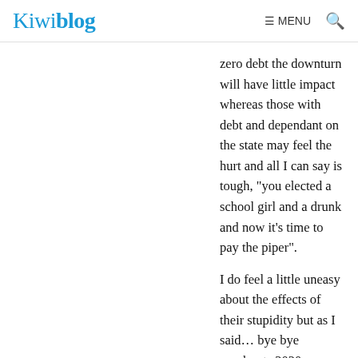Kiwiblog  ≡ MENU  🔍
zero debt the downturn will have little impact whereas those with debt and dependant on the state may feel the hurt and all I can say is tough, “you elected a school girl and a drunk and now it’s time to pay the piper”.
I do feel a little uneasy about the effects of their stupidity but as I said… bye bye numbnuts 2020.
2 1 • REPORT • MAY 16, 2019 9:55PM
453mm
[Figure (screenshot): BitLife ad banner: NOW WITH GOD MODE, with cartoon hand pointing]
You lost